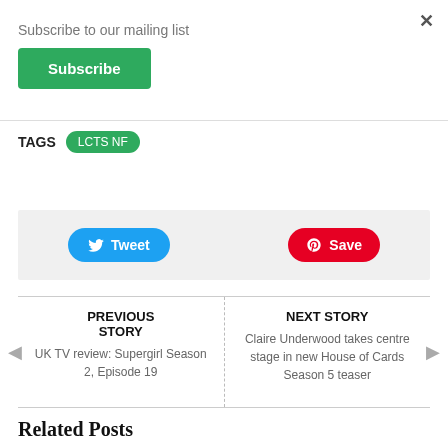×
Subscribe to our mailing list
Subscribe
TAGS  LCTS NF
[Figure (other): Social sharing bar with Tweet button (Twitter/blue) and Save button (Pinterest/red)]
PREVIOUS STORY
UK TV review: Supergirl Season 2, Episode 19
NEXT STORY
Claire Underwood takes centre stage in new House of Cards Season 5 teaser
Related Posts